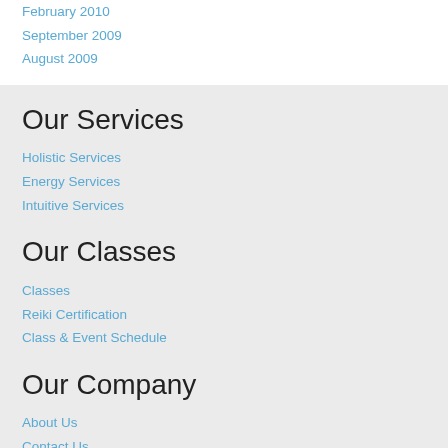February 2010
September 2009
August 2009
Our Services
Holistic Services
Energy Services
Intuitive Services
Our Classes
Classes
Reiki Certification
Class & Event Schedule
Our Company
About Us
Contact Us